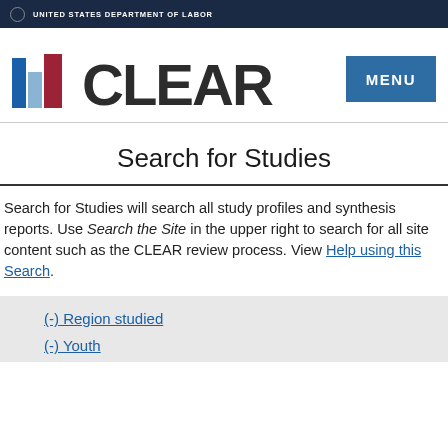UNITED STATES DEPARTMENT OF LABOR
[Figure (logo): CLEAR logo with bar chart icon and MENU button]
Search for Studies
Search for Studies will search all study profiles and synthesis reports. Use Search the Site in the upper right to search for all site content such as the CLEAR review process. View Help using this Search.
(-) Region studied
(-) Youth